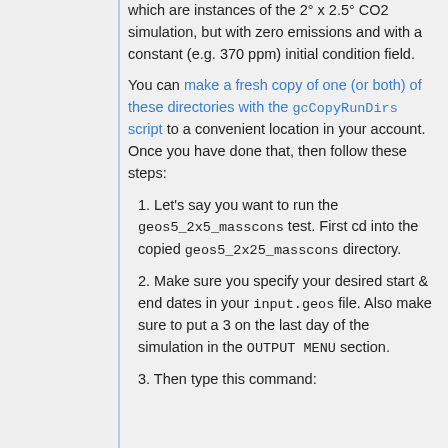which are instances of the 2° x 2.5° CO2 simulation, but with zero emissions and with a constant (e.g. 370 ppm) initial condition field.
You can make a fresh copy of one (or both) of these directories with the gcCopyRunDirs script to a convenient location in your account. Once you have done that, then follow these steps:
1. Let's say you want to run the geos5_2x5_masscons test. First cd into the copied geos5_2x25_masscons directory.
2. Make sure you specify your desired start & end dates in your input.geos file. Also make sure to put a 3 on the last day of the simulation in the OUTPUT MENU section.
3. Then type this command: